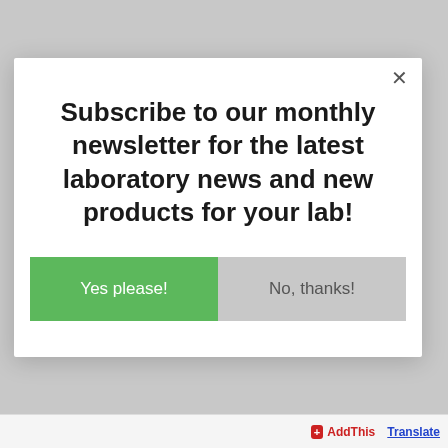Subscribe to our monthly newsletter for the latest laboratory news and new products for your lab!
Yes please!
No, thanks!
+ AddThis  Translate